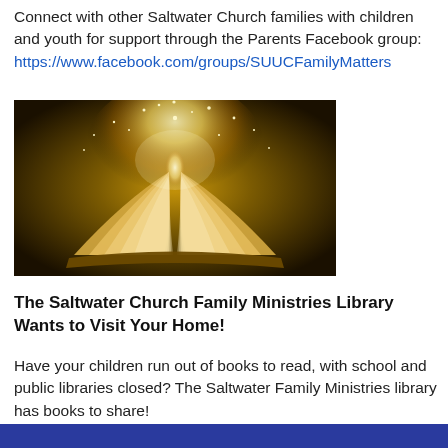Connect with other Saltwater Church families with children and youth for support through the Parents Facebook group: https://www.facebook.com/groups/SUUCFamilyMatters
[Figure (photo): An open book with glowing golden light and sparkles rising from the pages against a dark background.]
The Saltwater Church Family Ministries Library Wants to Visit Your Home!
Have your children run out of books to read, with school and public libraries closed? The Saltwater Family Ministries library has books to share! Contact melinda@saltwaterchurch.org to borrow books.